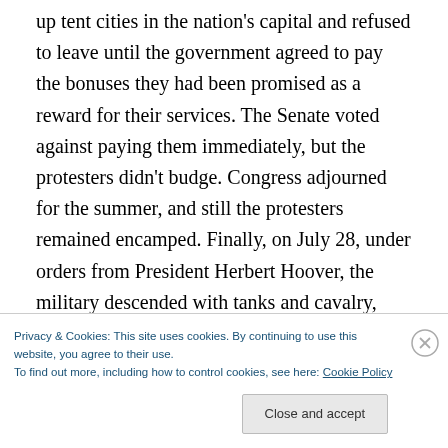up tent cities in the nation's capital and refused to leave until the government agreed to pay the bonuses they had been promised as a reward for their services. The Senate voted against paying them immediately, but the protesters didn't budge. Congress adjourned for the summer, and still the protesters remained encamped. Finally, on July 28, under orders from President Herbert Hoover, the military descended with tanks and cavalry, beating some protesters senseless and setting their makeshift camps on fire. Still, the protesters returned the following year, and
Privacy & Cookies: This site uses cookies. By continuing to use this website, you agree to their use.
To find out more, including how to control cookies, see here: Cookie Policy
Close and accept